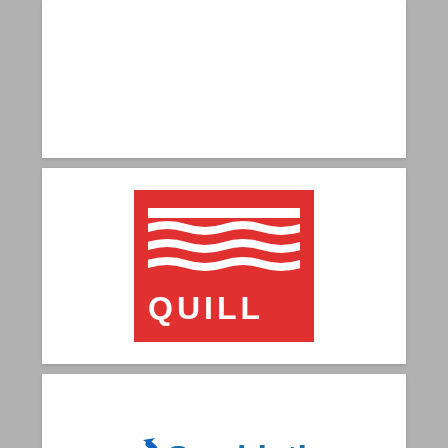[Figure (logo): Quill logo — red rectangle with white wave lines above the word QUILL in white bold letters]
[Figure (logo): Symbiotics logo — blue swirl S icon next to the text 'Symbiotics' in blue with tagline 'Making solutions work together']